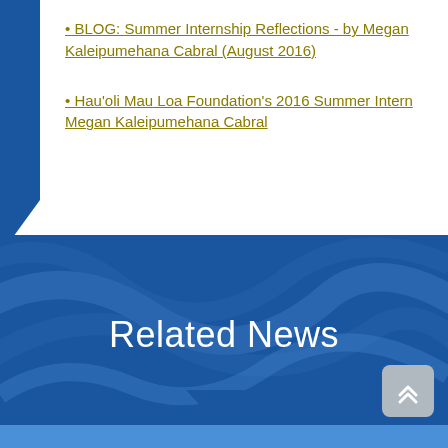• BLOG: Summer Internship Reflections - by Megan Kaleipumehana Cabral (August 2016)
• Hau'oli Mau Loa Foundation's 2016 Summer Intern Megan Kaleipumehana Cabral
Related News
[Figure (illustration): Blue decorative banner background with swirling wave patterns containing 'Related News' heading and a downward-pointing chevron arrow below]